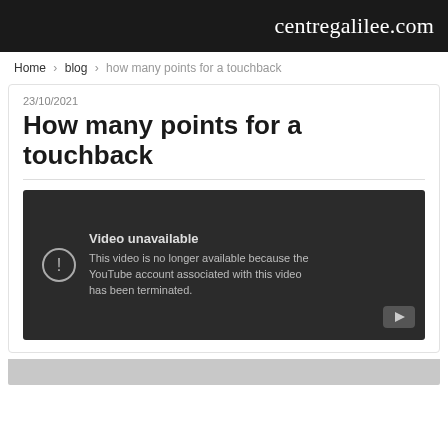centregalilee.com
Home › blog › how many points for a touchback
23/10/2021
How many points for a touchback
[Figure (screenshot): Embedded YouTube video player showing 'Video unavailable' error message. Text reads: 'This video is no longer available because the YouTube account associated with this video has been terminated.']